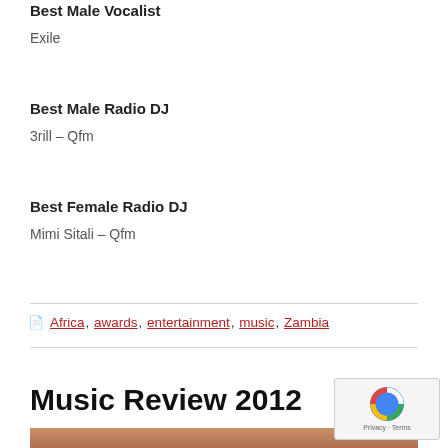Best Male Vocalist
Exile
Best Male Radio DJ
3rill – Qfm
Best Female Radio DJ
Mimi Sitali – Qfm
Africa, awards, entertainment, music, Zambia
Music Review 2012
[Figure (photo): Partial photo visible at bottom of page, appears to show a person's face/head cropped]